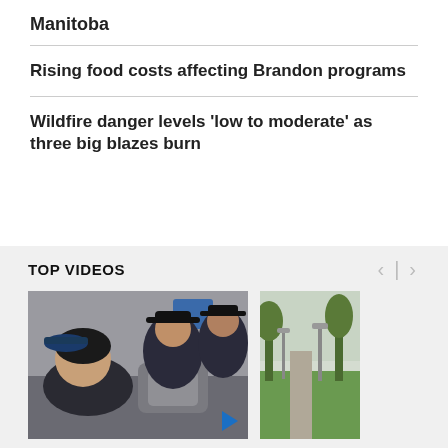Manitoba
Rising food costs affecting Brandon programs
Wildfire danger levels 'low to moderate' as three big blazes burn
TOP VIDEOS
[Figure (photo): Workers in dark uniforms and caps working at a food service counter]
[Figure (photo): Outdoor pathway with green grass and trees, overcast sky]